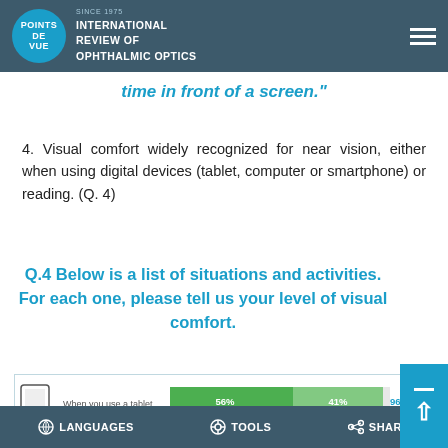POINTS DE VUE | SINCE 1975 INTERNATIONAL REVIEW OF OPHTHALMIC OPTICS
time in front of a screen."
4. Visual comfort widely recognized for near vision, either when using digital devices (tablet, computer or smartphone) or reading. (Q. 4)
Q.4 Below is a list of situations and activities. For each one, please tell us your level of visual comfort.
[Figure (bar-chart): Horizontal bar chart showing visual comfort levels. First row: 'When you use a tablet' with bars showing 56%, 41%, 96%]
LANGUAGES | TOOLS | SHARE